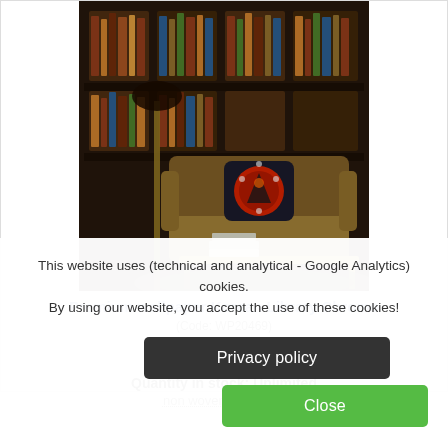[Figure (photo): Interior photo of a luxury library/living room with a velvet sofa, decorative pillow, coffee table with books, floor lamp, and dark bookshelf wallpaper in the background.]
Premium wallpaper Korean Library Chromo
(Code: WP20469)
195.00 EUR
Quantity in stock: Unlimited
non woven wallpaper
This website uses (technical and analytical - Google Analytics) cookies. By using our website, you accept the use of these cookies!
Privacy policy
Close